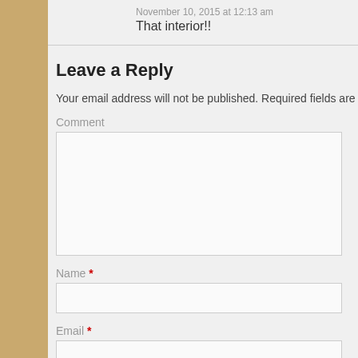November 10, 2015 at 12:13 am
That interior!!
Leave a Reply
Your email address will not be published. Required fields are
Comment
Name *
Email *